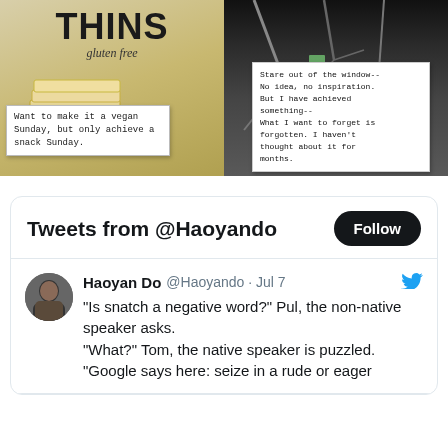[Figure (photo): Photo of Thins gluten free cracker box with a handwritten note overlay reading: Want to make it a vegan Sunday, but only achieve a snack Sunday.]
[Figure (photo): Black and white photo of bare tree branches with a white note overlay reading: Stare out of the window-- No idea, no inspiration. But I have achieved something-- What I want to forget is forgotten. I haven't thought about it for months.]
Tweets from @Haoyando
Haoyan Do @Haoyando · Jul 7
"Is snatch a negative word?" Pul, the non-native speaker asks.
"What?" Tom, the native speaker is puzzled.
"Google says here: seize in a rude or eager